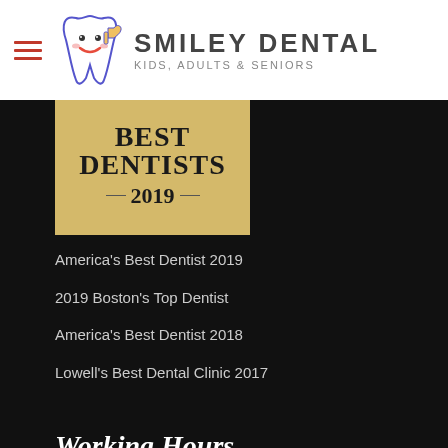Smiley Dental — Kids, Adults & Seniors
[Figure (illustration): Best Dentists 2019 award badge, golden/tan background with serif bold text]
America's Best Dentist 2019
2019 Boston's Top Dentist
America's Best Dentist 2018
Lowell's Best Dental Clinic 2017
Working Hours
Monday   8AM - 9PM
Tuesday   8AM - 9PM
Wednesday   9AM - 6:30PM